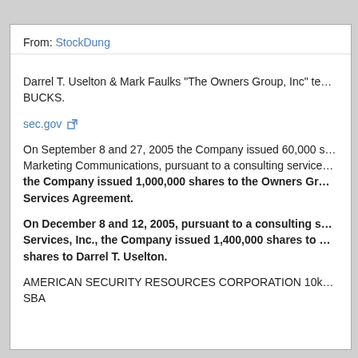From: StockDung
Darrel T. Uselton & Mark Faulks "The Owners Group, Inc" te... BUCKS.
sec.gov [external link]
On September 8 and 27, 2005 the Company issued 60,000 s... Marketing Communications, pursuant to a consulting service... the Company issued 1,000,000 shares to the Owners Gr... Services Agreement.
On December 8 and 12, 2005, pursuant to a consulting s... Services, Inc., the Company issued 1,400,000 shares to ... shares to Darrel T. Uselton.
AMERICAN SECURITY RESOURCES CORPORATION 10k... SBA